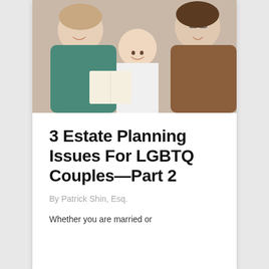[Figure (photo): Two adults and a child reading a book together, smiling. The adults appear to be a same-sex couple with a young girl between them.]
3 Estate Planning Issues For LGBTQ Couples—Part 2
By Patrick Shin, Esq.
Whether you are married or